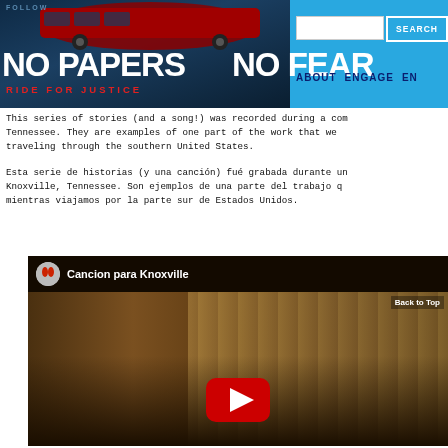NO PAPERS NO FEAR — RIDE FOR JUSTICE
This series of stories (and a song!) was recorded during a community meeting in Knoxville, Tennessee. They are examples of one part of the work that we do in the communities we visit while traveling through the southern United States.
Esta serie de historias (y una canción) fué grabada durante una reunión comunitaria en Knoxville, Tennessee. Son ejemplos de una parte del trabajo que hacemos en las comunidades mientras viajamos por la parte sur de Estados Unidos.
[Figure (screenshot): YouTube video embed showing 'Cancion para Knoxville' with people singing and playing guitar at what appears to be a community event. A YouTube play button is visible in the center. A 'Back to Top' link is in the upper right of the video.]